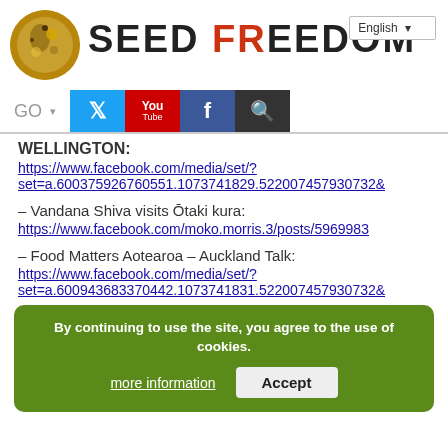SEED FREEDOM
WELLINGTON:
https://www.facebook.com/media/set/?set=a.600375926760551.1073741829.522007457930732&
– Vandana Shiva visits Ōtaki kura:
https://www.facebook.com/moko.morris.3/posts/5969983
– Food Matters Aotearoa – Auckland Talk:
https://www.facebook.com/media/set/?set=a.600943683370442.1073741831.522007457930732&
– The wonderful Sanctuary Gardens in Auckland:
https://www.facebook.com/foodmattersaotearoa/posts/6
By continuing to use the site, you agree to the use of cookies. more information  Accept